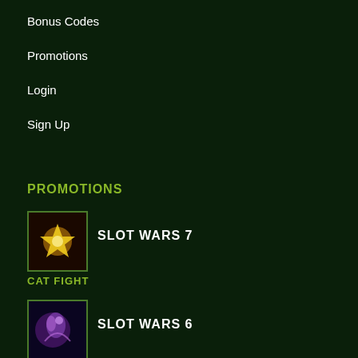Bonus Codes
Promotions
Login
Sign Up
PROMOTIONS
[Figure (illustration): Small thumbnail image for Slot Wars 7 promotion showing a glowing golden star burst]
SLOT WARS 7
CAT FIGHT
[Figure (illustration): Small thumbnail image for Slot Wars 6 promotion showing a purple dragon or fantasy creature]
SLOT WARS 6
GIANT BATTLE
[Figure (illustration): Small thumbnail image for Doragon's Gems promotion]
DORAGON'S GEMS